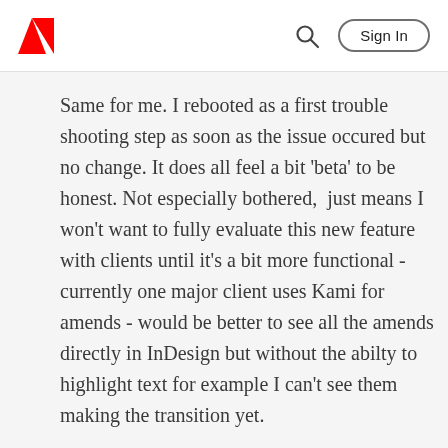Adobe | Sign In
Same for me. I rebooted as a first trouble shooting step as soon as the issue occured but no change. It does all feel a bit 'beta' to be honest. Not especially bothered,  just means I won't want to fully evaluate this new feature with clients until it's a bit more functional - currently one major client uses Kami for amends - would be better to see all the amends directly in InDesign but without the abilty to highlight text for example I can't see them making the transition yet.